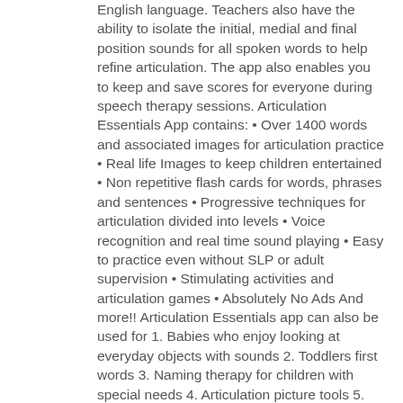English language. Teachers also have the ability to isolate the initial, medial and final position sounds for all spoken words to help refine articulation. The app also enables you to keep and save scores for everyone during speech therapy sessions. Articulation Essentials App contains: • Over 1400 words and associated images for articulation practice • Real life Images to keep children entertained • Non repetitive flash cards for words, phrases and sentences • Progressive techniques for articulation divided into levels • Voice recognition and real time sound playing • Easy to practice even without SLP or adult supervision • Stimulating activities and articulation games • Absolutely No Ads And more!! Articulation Essentials app can also be used for 1. Babies who enjoy looking at everyday objects with sounds 2. Toddlers first words 3. Naming therapy for children with special needs 4. Articulation picture tools 5. Apraxia & autism flash cards Please share your suggestions & feedback on articulationessentials@gmail.com Google+ :